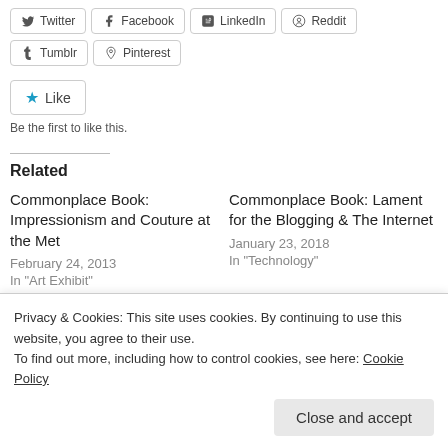[Figure (other): Social sharing buttons row: Twitter, Facebook, LinkedIn, Reddit]
[Figure (other): Social sharing buttons row 2: Tumblr, Pinterest]
[Figure (other): Like button with star icon]
Be the first to like this.
Related
Commonplace Book: Impressionism and Couture at the Met
February 24, 2013
In "Art Exhibit"
Commonplace Book: Lament for the Blogging & The Internet
January 23, 2018
In "Technology"
Privacy & Cookies: This site uses cookies. By continuing to use this website, you agree to their use.
To find out more, including how to control cookies, see here: Cookie Policy
[Figure (other): Close and accept button]